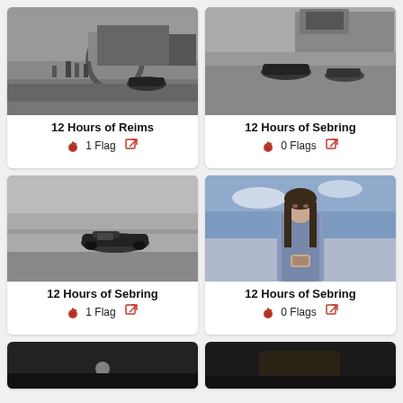[Figure (photo): Black and white photo of a vintage racing car (number 11) in pit lane at Reims circuit]
12 Hours of Reims
1 Flag
[Figure (photo): Black and white photo of vintage racing cars on track at Sebring with crowd in background]
12 Hours of Sebring
0 Flags
[Figure (photo): Black and white photo of vintage racing car number 42 on track at Sebring]
12 Hours of Sebring
1 Flag
[Figure (photo): Color photo of a woman with long dark hair wearing a racing jacket at Sebring]
12 Hours of Sebring
0 Flags
[Figure (photo): Partially visible dark/night racing photo at bottom left]
[Figure (photo): Partially visible dark racing photo at bottom right]